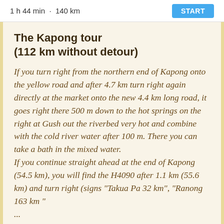1 h 44 min · 140 km   START
The Kapong tour (112 km without detour)
If you turn right from the northern end of Kapong onto the yellow road and after 4.7 km turn right again directly at the market onto the new 4.4 km long road, it goes right there 500 m down to the hot springs on the right at Gush out the riverbed very hot and combine with the cold river water after 100 m. There you can take a bath in the mixed water. If you continue straight ahead at the end of Kapong (54.5 km), you will find the H4090 after 1.1 km (55.6 km) and turn right (signs "Takua Pa 32 km", "Ranong 163 km" ...